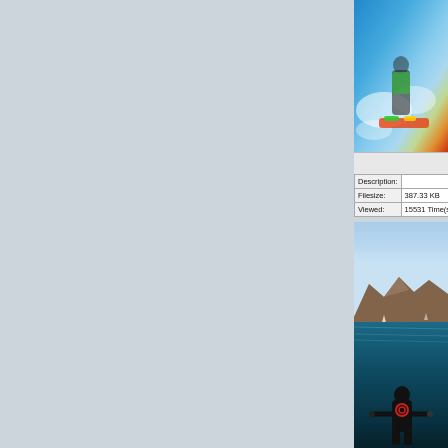[Figure (photo): Top photo: kitesurfer/windsurfer on water with colorful board and spray visible]
| Field | Value |
| --- | --- |
| Description: |  |
| Filesize: | 387.33 KB |
| Viewed: | 15531 Time(s) |
[Figure (photo): Bottom photo: outdoor coastal scene with mountains in background, blue sea, and a person in dark clothing visible in the foreground]